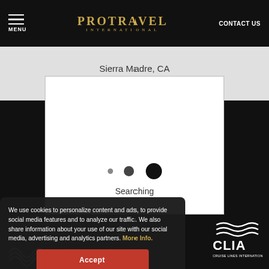PROTRAVEL INTERNATIONAL | MENU | CONTACT US
Sierra Madre, CA
[Figure (screenshot): White search results card area]
[Figure (infographic): Loading animation with three dots of increasing size and text 'Searching']
We use cookies to personalize content and ads, to provide social media features and to analyze our traffic. We also share information about your use of our site with our social media, advertising and analytics partners. More Info.
Accept
[Figure (logo): CLIA - Cruise Lines International Association logo, white on dark background]
[Figure (logo): InNova Travel Group watermark logo]